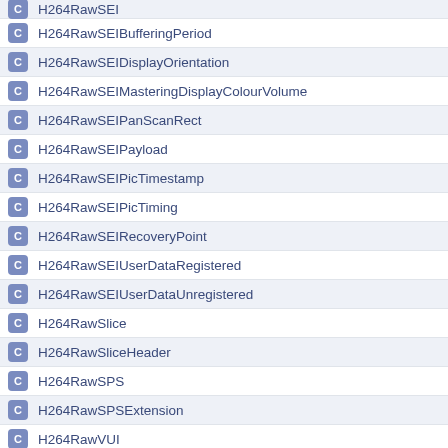H264RawSEI
H264RawSEIBufferingPeriod
H264RawSEIDisplayOrientation
H264RawSEIMasteringDisplayColourVolume
H264RawSEIPanScanRect
H264RawSEIPayload
H264RawSEIPicTimestamp
H264RawSEIPicTiming
H264RawSEIRecoveryPoint
H264RawSEIUserDataRegistered
H264RawSEIUserDataUnregistered
H264RawSlice
H264RawSliceHeader
H264RawSPS
H264RawSPSExtension
H264RawVUI
H264RedundantPPSContext
H264Ref